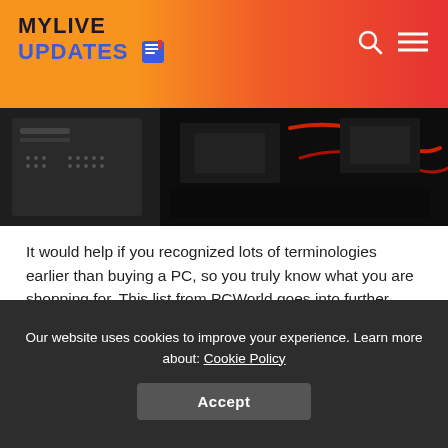MYLIVE UPDATES
[Figure (photo): Dark photo showing computer hardware components — PC tower and internal components/cables]
It would help if you recognized lots of terminologies earlier than buying a PC, so you truly know what you are shopping for. This list from PCWorld goes into further elements, but here is a short breakdown of the terms you must recognize and recognize.
Processor (CPU)
This is the mind of your computer. Processor pace is
Our website uses cookies to improve your experience. Learn more about: Cookie Policy
Accept